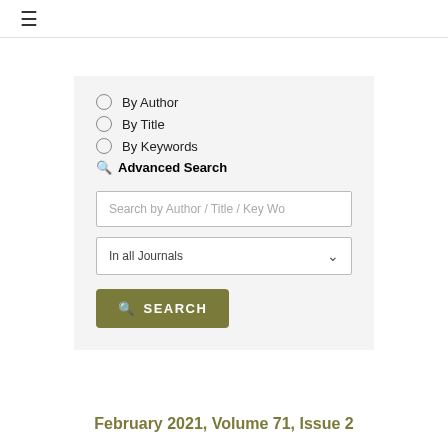≡
By Author
By Title
By Keywords
Advanced Search
Search by Author / Title / Key Wo
In all Journals
SEARCH
February 2021, Volume 71, Issue 2